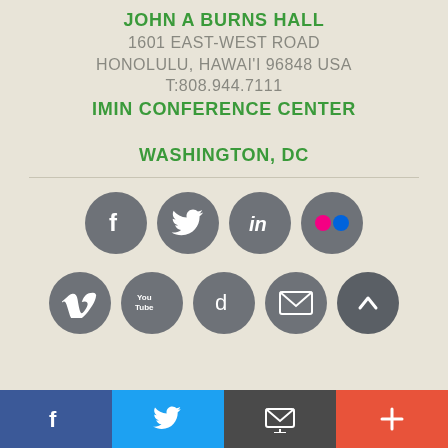JOHN A BURNS HALL
1601 EAST-WEST ROAD
HONOLULU, HAWAI'I 96848 USA
T:808.944.7111
IMIN CONFERENCE CENTER
WASHINGTON, DC
[Figure (infographic): Social media icons: Facebook, Twitter, LinkedIn, Flickr (top row); Vimeo, YouTube, Delicious, Email, scroll-up (bottom row) — all gray circular buttons]
Facebook | Twitter | Email | Plus(+) — bottom navigation bar